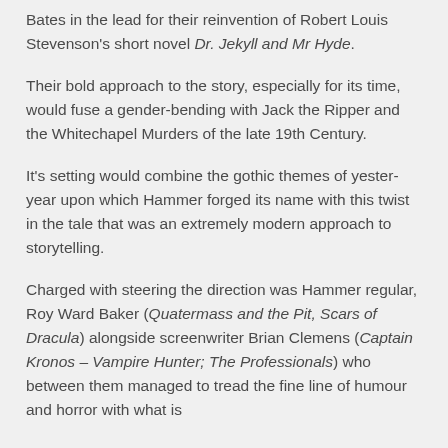Bates in the lead for their reinvention of Robert Louis Stevenson's short novel Dr. Jekyll and Mr Hyde.
Their bold approach to the story, especially for its time, would fuse a gender-bending with Jack the Ripper and the Whitechapel Murders of the late 19th Century.
It's setting would combine the gothic themes of yester-year upon which Hammer forged its name with this twist in the tale that was an extremely modern approach to storytelling.
Charged with steering the direction was Hammer regular, Roy Ward Baker (Quatermass and the Pit, Scars of Dracula) alongside screenwriter Brian Clemens (Captain Kronos – Vampire Hunter; The Professionals) who between them managed to tread the fine line of humour and horror with what is